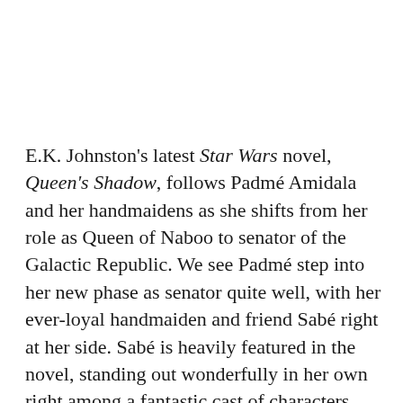E.K. Johnston's latest Star Wars novel, Queen's Shadow, follows Padmé Amidala and her handmaidens as she shifts from her role as Queen of Naboo to senator of the Galactic Republic. We see Padmé step into her new phase as senator quite well, with her ever-loyal handmaiden and friend Sabé right at her side. Sabé is heavily featured in the novel, standing out wonderfully in her own right among a fantastic cast of characters. From serving as Padmé's body double at a senator-held party to being a close friend that Padmé frequently checks in on, Sabé